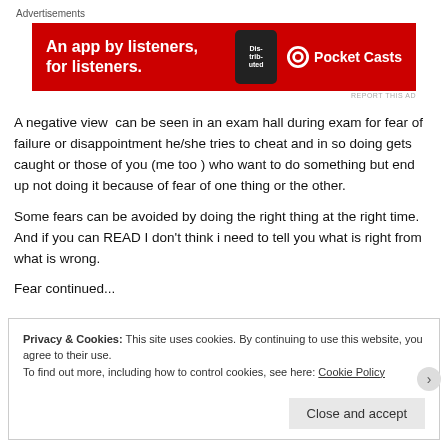Advertisements
[Figure (other): Red advertisement banner for Pocket Casts app. Text reads: An app by listeners, for listeners. Shows a phone graphic and Pocket Casts logo.]
A negative view  can be seen in an exam hall during exam for fear of failure or disappointment he/she tries to cheat and in so doing gets caught or those of you (me too ) who want to do something but end up not doing it because of fear of one thing or the other.
Some fears can be avoided by doing the right thing at the right time. And if you can READ I don't think i need to tell you what is right from what is wrong.
Fear continued...
Privacy & Cookies: This site uses cookies. By continuing to use this website, you agree to their use.
To find out more, including how to control cookies, see here: Cookie Policy